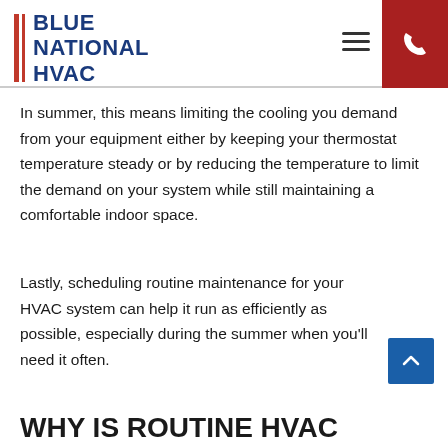BLUE NATIONAL HVAC
In summer, this means limiting the cooling you demand from your equipment either by keeping your thermostat temperature steady or by reducing the temperature to limit the demand on your system while still maintaining a comfortable indoor space.
Lastly, scheduling routine maintenance for your HVAC system can help it run as efficiently as possible, especially during the summer when you’ll need it often.
WHY IS ROUTINE HVAC